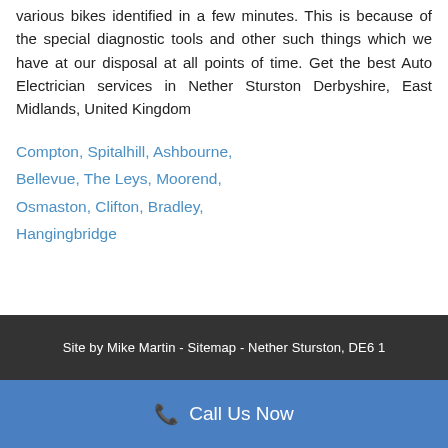various bikes identified in a few minutes. This is because of the special diagnostic tools and other such things which we have at our disposal at all points of time. Get the best Auto Electrician services in Nether Sturston Derbyshire, East Midlands, United Kingdom
Compton, Spitalhill, Ashbourne, Bellevue, The Leys, Moorend, Osmaston, Clifton, Bradley, Hangingbridge
Site by Mike Martin - Sitemap - Nether Sturston, DE6 1
Call Us Now